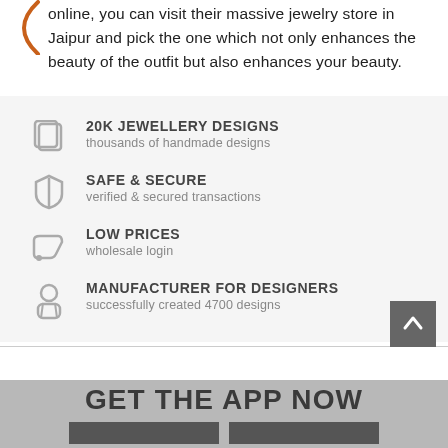online, you can visit their massive jewelry store in Jaipur and pick the one which not only enhances the beauty of the outfit but also enhances your beauty.
20K JEWELLERY DESIGNS
thousands of handmade designs
SAFE & SECURE
verified & secured transactions
LOW PRICES
wholesale login
MANUFACTURER FOR DESIGNERS
successfully created 4700 designs
GET THE APP NOW